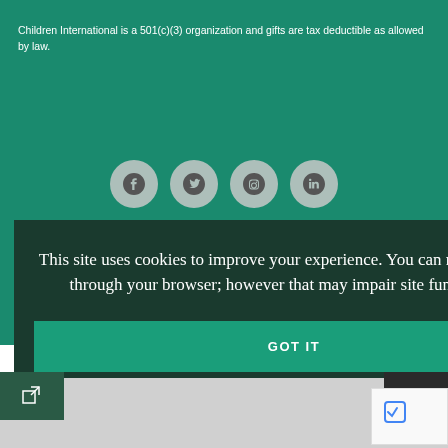Children International is a 501(c)(3) organization and gifts are tax deductible as allowed by law.
[Figure (infographic): Four social media icons (Facebook, Twitter, Instagram, LinkedIn) displayed as circular gray buttons on a teal/green background]
+ Sitemap
This site uses cookies to improve your experience. You can restrict cookies through your browser; however that may impair site functionality.
GOT IT
219055 |
[Figure (logo): Children International watermark logo (partially visible)]
[Figure (screenshot): reCAPTCHA widget partially visible at bottom right]
DMCA Notice   Terms/Privacy   Cookie Privacy Policy   Inst...